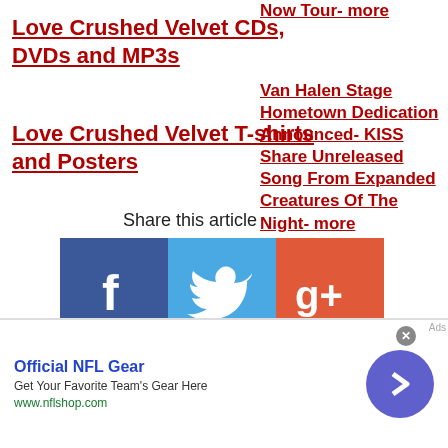Love Crushed Velvet CDs, DVDs and MP3s
Love Crushed Velvet T-shirts and Posters
Share this article
[Figure (infographic): Social sharing icons: Facebook, Twitter, Google+, Pinterest, Reddit, Email]
Now Tour- more
Van Halen Stage Hometown Dedication Announced- KISS Share Unreleased Song From Expanded Creatures Of The Night- more
[Figure (infographic): Advertisement banner: Official NFL Gear - Get Your Favorite Team's Gear Here - www.nflshop.com with a blue circle arrow button and close button]